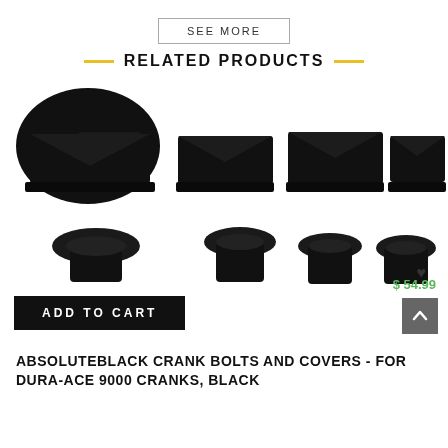SEE MORE
RELATED PRODUCTS
[Figure (photo): AbsoluteBlack crank bolts and covers product photo showing four black trapezoid-shaped crank covers on top and four black bolts on the bottom, on a white background.]
ADD TO CART
$ 54.99
ABSOLUTEBLACK CRANK BOLTS AND COVERS - FOR DURA-ACE 9000 CRANKS, BLACK